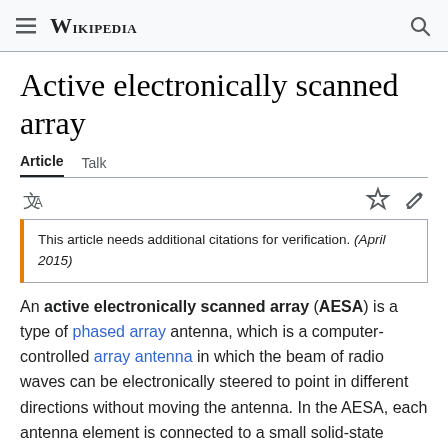Wikipedia
Active electronically scanned array
Article   Talk
This article needs additional citations for verification. (April 2015)
An active electronically scanned array (AESA) is a type of phased array antenna, which is a computer-controlled array antenna in which the beam of radio waves can be electronically steered to point in different directions without moving the antenna. In the AESA, each antenna element is connected to a small solid-state transmit/receive module (TRM) under the control of a computer, which performs the